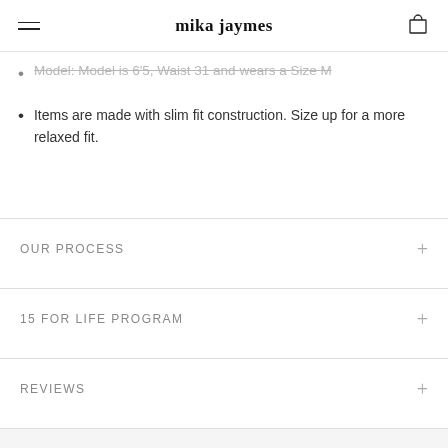mika jaymes
Model: Model is 6'5, Waist 31 and wears a Size M
Items are made with slim fit construction. Size up for a more relaxed fit.
OUR PROCESS
15 FOR LIFE PROGRAM
REVIEWS